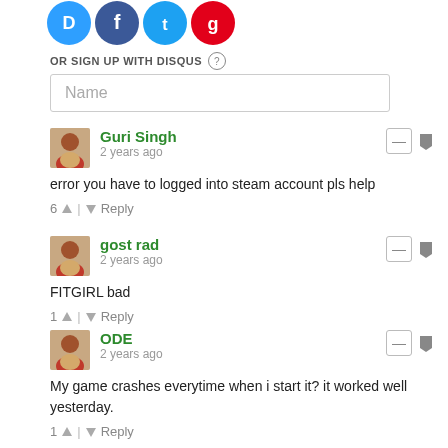[Figure (illustration): Social media login icons (Disqus blue, Facebook blue, Twitter blue, Google red) as circular icons partially visible at top]
OR SIGN UP WITH DISQUS ?
Name
Guri Singh
2 years ago
error you have to logged into steam account pls help
6 ↑ | ↓ Reply
gost rad
2 years ago
FITGIRL bad
1 ↑ | ↓ Reply
ODE
2 years ago
My game crashes everytime when i start it? it worked well yesterday.
1 ↑ | ↓ Reply